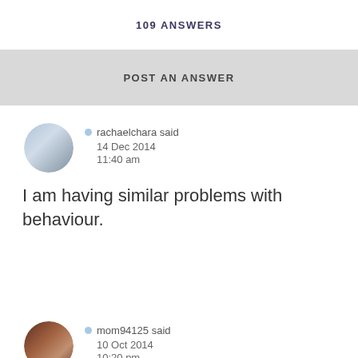109 ANSWERS
POST AN ANSWER
rachaelchara said
14 Dec 2014
11:40 am
I am having similar problems with behaviour.
mom94125 said
10 Oct 2014
10:20 pm
be firm and consistent. if they choose to talk to you in an unexeceptable manner, they